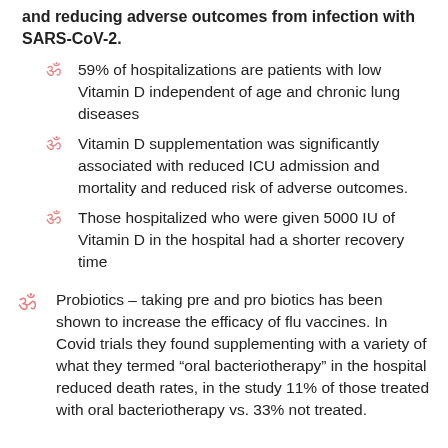and reducing adverse outcomes from infection with SARS-CoV-2.
59% of hospitalizations are patients with low Vitamin D independent of age and chronic lung diseases
Vitamin D supplementation was significantly associated with reduced ICU admission and mortality and reduced risk of adverse outcomes.
Those hospitalized who were given 5000 IU of Vitamin D in the hospital had a shorter recovery time
Probiotics – taking pre and pro biotics has been shown to increase the efficacy of flu vaccines. In Covid trials they found supplementing with a variety of what they termed “oral bacteriotherapy” in the hospital reduced death rates, in the study 11% of those treated with oral bacteriotherapy vs. 33% not treated.